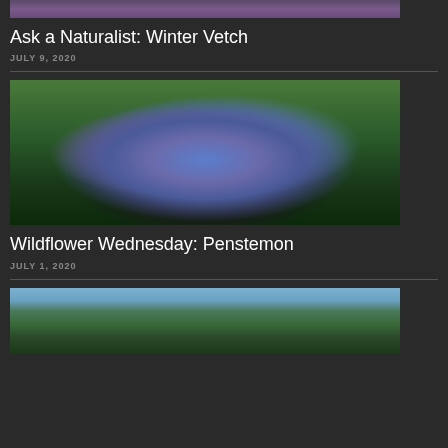[Figure (photo): Top portion of a photo showing purple flowers (Winter Vetch), partially cropped at the top of the page]
Ask a Naturalist: Winter Vetch
JULY 9, 2020
[Figure (photo): Close-up photo of a Penstemon wildflower with blue and purple petals against a green background]
Wildflower Wednesday: Penstemon
JULY 1, 2020
[Figure (photo): Partially visible photo showing a forest scene with tall pine trees and a person, cropped at the bottom of the page]